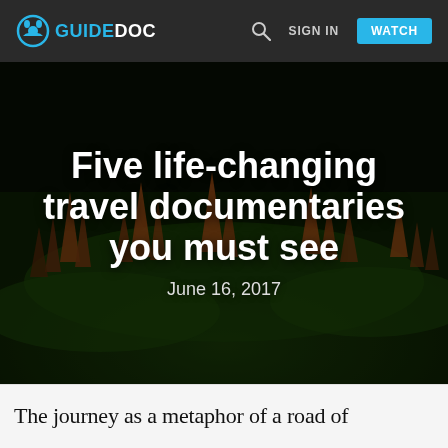GUIDEDOC — navigation bar with logo, search, SIGN IN, WATCH
[Figure (photo): Aerial landscape photo of Bagan, Myanmar, showing ancient temple spires rising from lush green plains under a dark atmospheric sky. Overlaid with large white text reading 'Five life-changing travel documentaries you must see' and the date 'June 16, 2017'.]
Five life-changing travel documentaries you must see
June 16, 2017
The journey as a metaphor of a road of